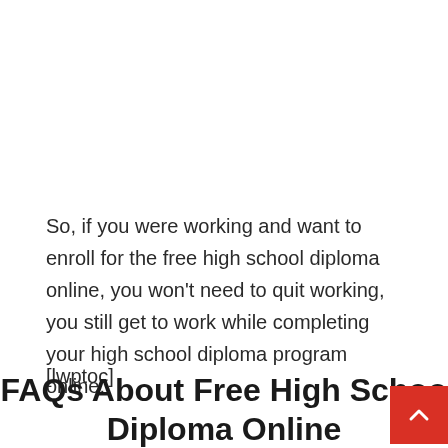So, if you were working and want to enroll for the free high school diploma online, you won't need to quit working, you still get to work while completing your high school diploma program online.
[lwptoc]
FAQs About Free High School Diploma Online